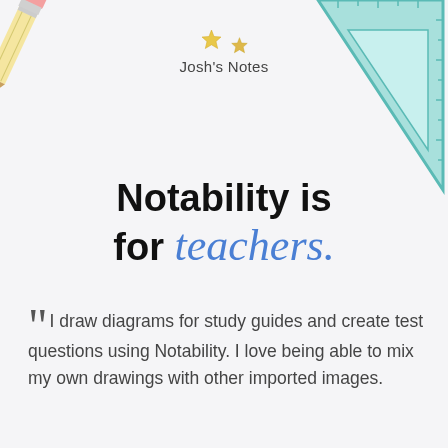[Figure (illustration): Illustration of a pencil in the top-left corner, colored with pink eraser and yellow body, tilted diagonally]
[Figure (illustration): Illustration of a teal/cyan set square (triangle ruler) in the top-right corner]
Josh's Notes
Notability is for teachers.
"I draw diagrams for study guides and create test questions using Notability. I love being able to mix my own drawings with other imported images.